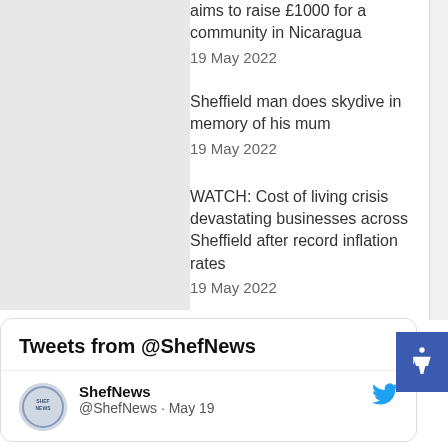aims to raise £1000 for a community in Nicaragua
19 May 2022
Sheffield man does skydive in memory of his mum
19 May 2022
WATCH: Cost of living crisis devastating businesses across Sheffield after record inflation rates
19 May 2022
Tweets from @ShefNews
ShefNews
@ShefNews · May 19